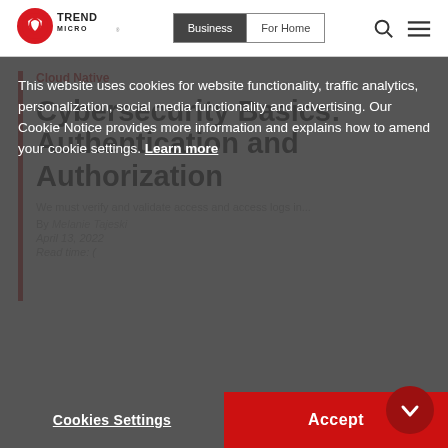Trend Micro — Business | For Home
Cloud Native
Cybersecurity Basics: Authentication and Authorization
This website uses cookies for website functionality, traffic analytics, personalization, social media functionality and advertising. Our Cookie Notice provides more information and explains how to amend your cookie settings. Learn more
Cookies Settings   Accept